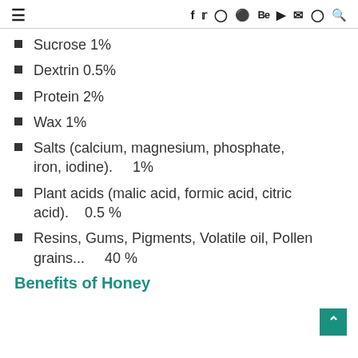≡  f  Twitter  Instagram  Pinterest  Be  YouTube  Email  Snapchat  Search
Sucrose 1%
Dextrin 0.5%
Protein 2%
Wax 1%
Salts (calcium, magnesium, phosphate, iron, iodine).    1%
Plant acids (malic acid, formic acid, citric acid).    0.5 %
Resins, Gums, Pigments, Volatile oil, Pollen grains...    40 %
Benefits of Honey